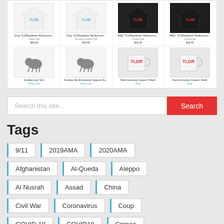[Figure (screenshot): Product grid showing TLDR merchandise items including t-shirts and mugs in two rows of four items each]
[Figure (screenshot): Search bar with placeholder text 'Search this site...' and a red Search button]
Tags
9/11
2019AMA
2020AMA
Afghanistan
Al-Queda
Aleppo
Al Nusrah
Assad
China
Civil War
Coronavirus
Coup
COVID-19
COVID19
Crimea